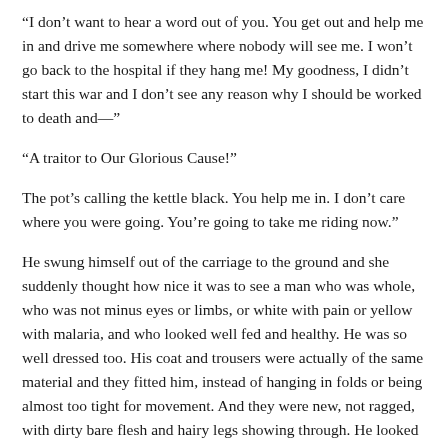“I don’t want to hear a word out of you. You get out and help me in and drive me somewhere where nobody will see me. I won’t go back to the hospital if they hang me! My goodness, I didn’t start this war and I don’t see any reason why I should be worked to death and—”
“A traitor to Our Glorious Cause!”
The pot’s calling the kettle black. You help me in. I don’t care where you were going. You’re going to take me riding now.”
He swung himself out of the carriage to the ground and she suddenly thought how nice it was to see a man who was whole, who was not minus eyes or limbs, or white with pain or yellow with malaria, and who looked well fed and healthy. He was so well dressed too. His coat and trousers were actually of the same material and they fitted him, instead of hanging in folds or being almost too tight for movement. And they were new, not ragged, with dirty bare flesh and hairy legs showing through. He looked as if he had not a care in the world and that in itself was startling these days, when other men were such worried, preoccupied, grim looks. His